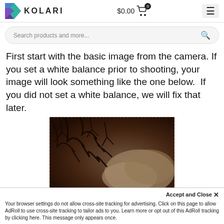KOLARI  $0.00  [cart icon 0]
Search products and more...
First start with the basic image from the camera. If you set a white balance prior to shooting, your image will look something like the one below.  If you did not set a white balance, we will fix that later.
[Figure (photo): A dark sepia-toned photograph of tree branches and clouds against a dark sky, showing an infrared or unprocessed camera image with warm brown tones.]
Accept and Close ×
Your browser settings do not allow cross-site tracking for advertising. Click on this page to allow AdRoll to use cross-site tracking to tailor ads to you. Learn more or opt out of this AdRoll tracking by clicking here. This message only appears once.